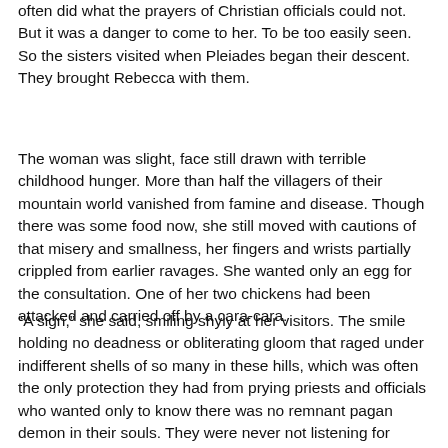often did what the prayers of Christian officials could not. But it was a danger to come to her. To be too easily seen. So the sisters visited when Pleiades began their descent. They brought Rebecca with them.
The woman was slight, face still drawn with terrible childhood hunger. More than half the villagers of their mountain world vanished from famine and disease. Though there was some food now, she still moved with cautions of that misery and smallness, her fingers and wrists partially crippled from earlier ravages. She wanted only an egg for the consultation. One of her two chickens had been attacked and carried off by a cara-cara.
“A sign,” she said, smiling shyly at her visitors. The smile holding no deadness or obliterating gloom that raged under indifferent shells of so many in these hills, which was often the only protection they had from prying priests and officials who wanted only to know there was no remnant pagan demon in their souls. They were never not listening for rumor